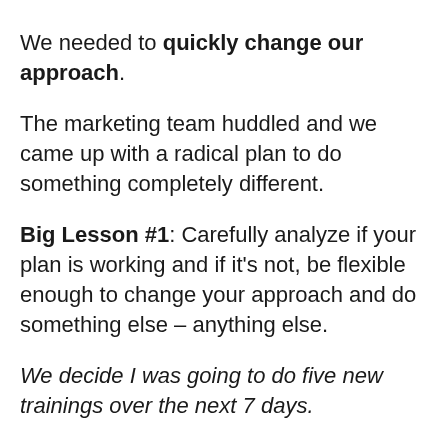We needed to quickly change our approach.
The marketing team huddled and we came up with a radical plan to do something completely different.
Big Lesson #1: Carefully analyze if your plan is working and if it's not, be flexible enough to change your approach and do something else – anything else.
We decide I was going to do five new trainings over the next 7 days.
This seemed crazy since I needed to